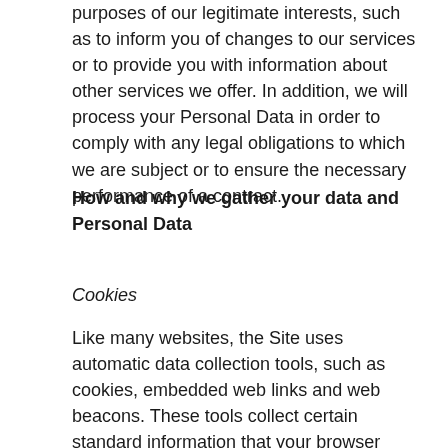purposes of our legitimate interests, such as to inform you of changes to our services or to provide you with information about other services we offer. In addition, we will process your Personal Data in order to comply with any legal obligations to which we are subject or to ensure the necessary performance of a contract.
How and why we gather your data and Personal Data
Cookies
Like many websites, the Site uses automatic data collection tools, such as cookies, embedded web links and web beacons. These tools collect certain standard information that your browser sends to the Site. They may also collect information about your Internet Protocol (IP) address, a number automatically assigned to your computer or device whenever you connect to the Internet. It is a unique address